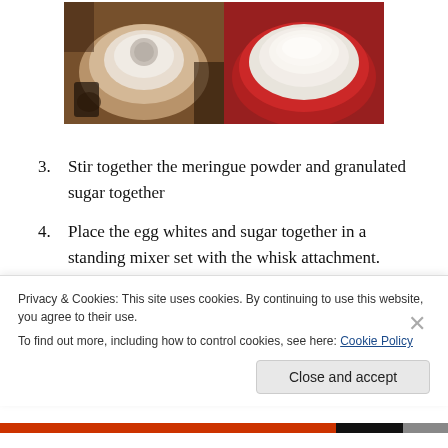[Figure (photo): Two side-by-side cooking photos: left shows a food processor bowl with flour/dry ingredients, right shows a red mixing bowl with white powdery ingredients.]
3. Stir together the meringue powder and granulated sugar together
4. Place the egg whites and sugar together in a standing mixer set with the whisk attachment. Whisk on medium-high speed until glossy medium peaks form
Privacy & Cookies: This site uses cookies. By continuing to use this website, you agree to their use.
To find out more, including how to control cookies, see here: Cookie Policy
Close and accept